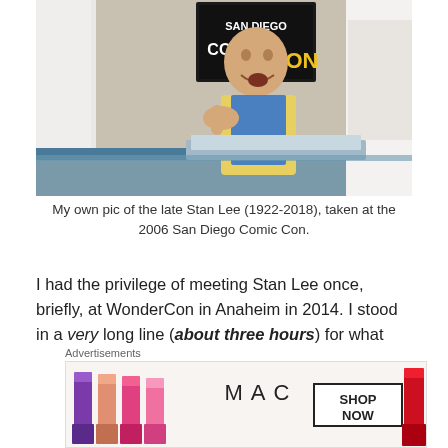[Figure (photo): Photo of the late Stan Lee at the 2006 San Diego Comic Con, signing autographs at a table with a Comic Con banner visible in the background. He is wearing a yellow shirt over a blue shirt, with his mouth open and hand raised.]
My own pic of the late Stan Lee (1922-2018), taken at the 2006 San Diego Comic Con.
I had the privilege of meeting Stan Lee once, briefly, at WonderCon in Anaheim in 2014. I stood in a very long line (about three hours) for what was a four second meet & greet, and I was fine with that, since there was
Advertisements
[Figure (photo): MAC Cosmetics advertisement banner showing lipsticks in purple, peach, and pink colors on the left, the MAC logo in the center, and a 'SHOP NOW' box on the right with a red lipstick.]